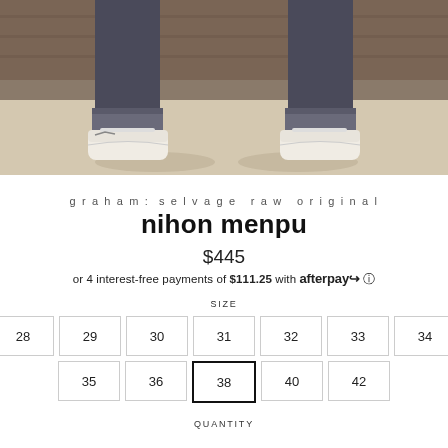[Figure (photo): Close-up photo of a person's legs wearing rolled-up dark jeans and white canvas sneakers, standing on a light floor with a wooden wall behind them.]
graham: selvage raw original
nihon menpu
$445
or 4 interest-free payments of $111.25 with afterpay ℹ
SIZE
28
29
30
31
32
33
34
35
36
38 (selected)
40
42
QUANTITY